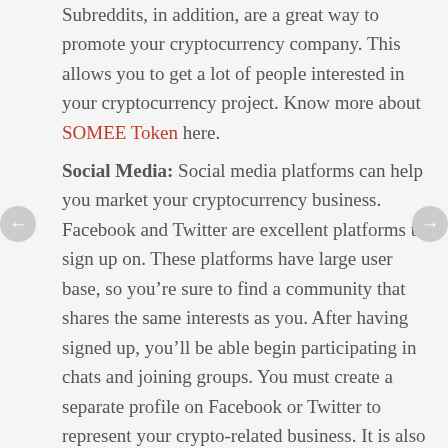Subreddits, in addition, are a great way to promote your cryptocurrency company. This allows you to get a lot of people interested in your cryptocurrency project. Know more about SOMEE Token here.
Social Media: Social media platforms can help you market your cryptocurrency business. Facebook and Twitter are excellent platforms to sign up on. These platforms have large user base, so you're sure to find a community that shares the same interests as you. After having signed up, you'll be able begin participating in chats and joining groups. You must create a separate profile on Facebook or Twitter to represent your crypto-related business. It is also a good idea join subreddits that are devoted to cryptocurrency.